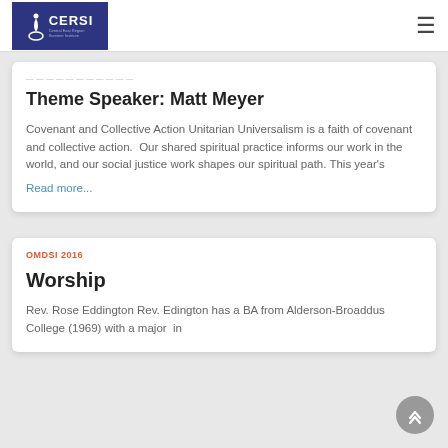CERSI
Theme Speaker: Matt Meyer
Covenant and Collective Action Unitarian Universalism is a faith of covenant and collective action.  Our shared spiritual practice informs our work in the world, and our social justice work shapes our spiritual path. This year's
Read more...
OMDSI 2016
Worship
Rev. Rose Eddington Rev. Edington has a BA from Alderson-Broaddus College (1969) with a major in